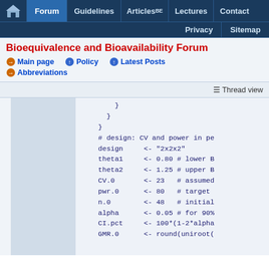Forum | Guidelines | Articles BE | Lectures | Contact | Privacy | Sitemap
Bioequivalence and Bioavailability Forum
Main page
Policy
Latest Posts
Abbreviations
Thread view
}
      }
    }
    # design: CV and power in pe
    design     <- "2x2x2"
    theta1     <- 0.80 # lower B
    theta2     <- 1.25 # upper B
    CV.0       <- 23   # assumed
    pwr.0      <- 80   # target
    n.0        <- 48   # initial
    alpha      <- 0.05 # for 90%
    CI.pct     <- 100*(1-2*alpha
    GMR.0      <- round(uniroot(